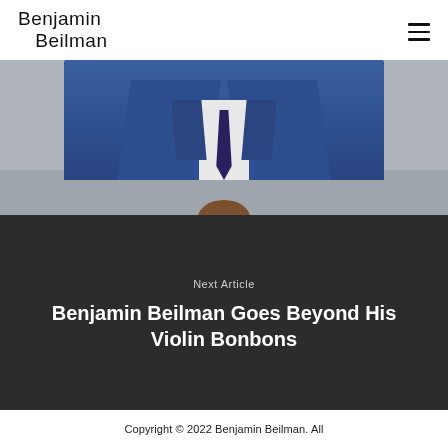Benjamin Beilman
[Figure (photo): A man in a blue suit with a dark tie visible from chest up, against a gray background. Below, another person's head is partially visible.]
Next Article
Benjamin Beilman Goes Beyond His Violin Bonbons
Copyright © 2022 Benjamin Beilman. All